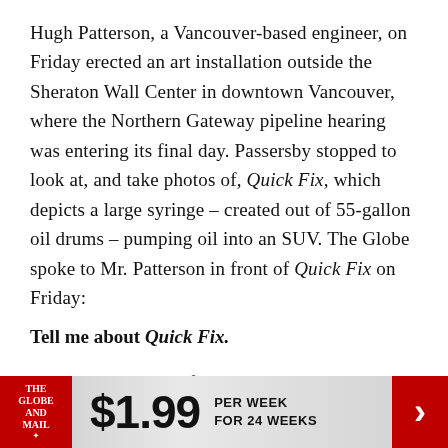Hugh Patterson, a Vancouver-based engineer, on Friday erected an art installation outside the Sheraton Wall Center in downtown Vancouver, where the Northern Gateway pipeline hearing was entering its final day. Passersby stopped to look at, and take photos of, Quick Fix, which depicts a large syringe – created out of 55-gallon oil drums – pumping oil into an SUV. The Globe spoke to Mr. Patterson in front of Quick Fix on Friday:
Tell me about Quick Fix.
It's a clear metaphor for society's addiction to oil. This is my first public work, if you want to call it that, but I don't consider myself an artist or a
[Figure (other): Banner advertisement for The Globe and Mail subscription offer: $1.99 per week for 24 weeks, with red Globe and Mail logo on left and red arrow on right.]